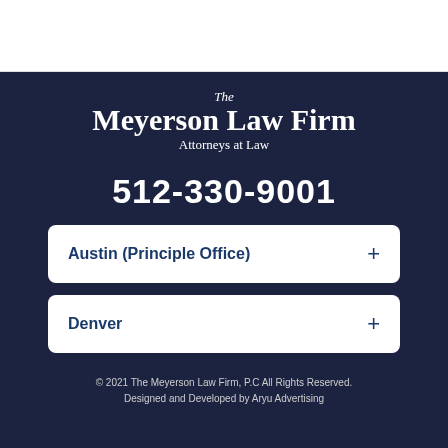[Figure (logo): The Meyerson Law Firm Attorneys at Law logo in white text on dark navy background]
512-330-9001
Austin (Principle Office) +
Denver +
© 2021 The Meyerson Law Firm, P.C All Rights Reserved. Designed and Developed by Aryu Advertising